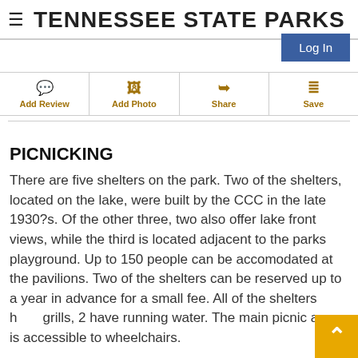TENNESSEE STATE PARKS
[Figure (other): Log In button (blue rectangle)]
[Figure (other): Navigation action bar with icons: Add Review, Add Photo, Share, Save]
PICNICKING
There are five shelters on the park. Two of the shelters, located on the lake, were built by the CCC in the late 1930?s. Of the other three, two also offer lake front views, while the third is located adjacent to the parks playground. Up to 150 people can be accomodated at the pavilions. Two of the shelters can be reserved up to a year in advance for a small fee. All of the shelters have grills, 2 have running water. The main picnic area is accessible to wheelchairs.
[Figure (other): Back to top arrow button (yellow/gold square with upward chevron)]